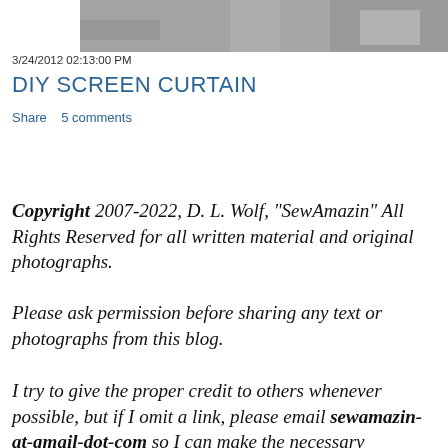[Figure (photo): Partial photo strip at top of blog page, cropped image showing indistinct interior scene]
3/24/2012 02:13:00 PM
DIY SCREEN CURTAIN
Share   5 comments
Copyright 2007-2022, D. L. Wolf, "SewAmazin" All Rights Reserved for all written material and original photographs.
Please ask permission before sharing any text or photographs from this blog.
I try to give the proper credit to others whenever possible, but if I omit a link, please email sewamazin-at-gmail-dot-com so I can make the necessary corrections. Thanks!